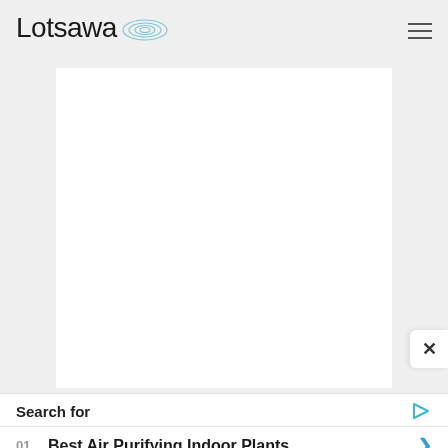Lotsawa
[Figure (screenshot): White blank content area within a light gray page background]
Search for
01. Best Air Purifying Indoor Plants
02. Best Fertilizer For Air Plants
Yahoo! Search | Sponsored